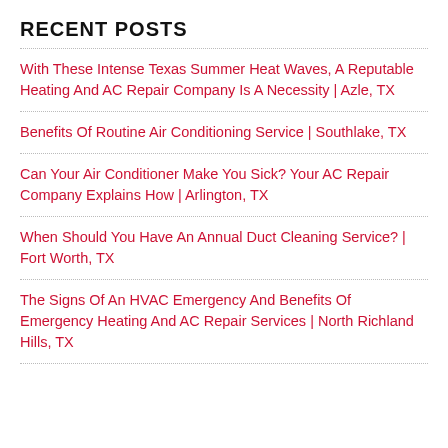RECENT POSTS
With These Intense Texas Summer Heat Waves, A Reputable Heating And AC Repair Company Is A Necessity | Azle, TX
Benefits Of Routine Air Conditioning Service | Southlake, TX
Can Your Air Conditioner Make You Sick? Your AC Repair Company Explains How | Arlington, TX
When Should You Have An Annual Duct Cleaning Service? | Fort Worth, TX
The Signs Of An HVAC Emergency And Benefits Of Emergency Heating And AC Repair Services | North Richland Hills, TX